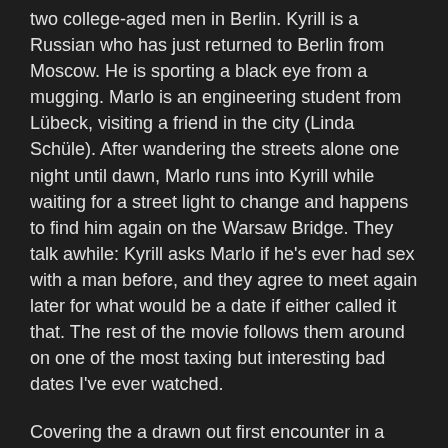two college-aged men in Berlin. Kyrill is a Russian who has just returned to Berlin from Moscow. He is sporting a black eye from a mugging. Marlo is an engineering student from Lübeck, visiting a friend in the city (Linda Schüle). After wandering the streets alone one night until dawn, Marlo runs into Kyrill while waiting for a street light to change and happens to find him again on the Warsaw Bridge. They talk awhile: Kyrill asks Marlo if he's ever had sex with a man before, and they agree to meet again later for what would be a date if either called it that. The rest of the movie follows them around on one of the most taxing but interesting bad dates I've ever watched.
Covering the a drawn out first encounter in a gay movie is hardly unique. Late last year, I reviewed Peyote, about two teenagers on a quest to find the drug, and White Night about a flight attendant and messenger meeting for a hook up in Korea. There's also the inestimably great drama Weekend (2011) and the comedy Trick (1999). These movies share a focus on two men who aren't yet in a relationship over the limited period of time from the first contact to the end of the